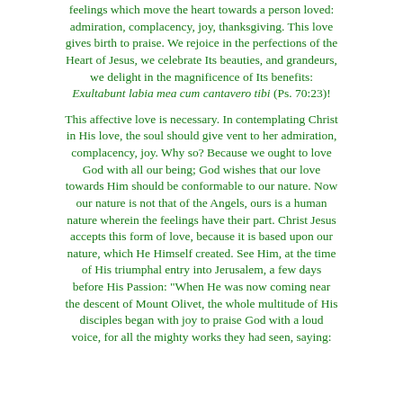feelings which move the heart towards a person loved: admiration, complacency, joy, thanksgiving. This love gives birth to praise. We rejoice in the perfections of the Heart of Jesus, we celebrate Its beauties, and grandeurs, we delight in the magnificence of Its benefits: Exultabunt labia mea cum cantavero tibi (Ps. 70:23)!
This affective love is necessary. In contemplating Christ in His love, the soul should give vent to her admiration, complacency, joy. Why so? Because we ought to love God with all our being; God wishes that our love towards Him should be conformable to our nature. Now our nature is not that of the Angels, ours is a human nature wherein the feelings have their part. Christ Jesus accepts this form of love, because it is based upon our nature, which He Himself created. See Him, at the time of His triumphal entry into Jerusalem, a few days before His Passion: "When He was now coming near the descent of Mount Olivet, the whole multitude of His disciples began with joy to praise God with a loud voice, for all the mighty works they had seen, saying: